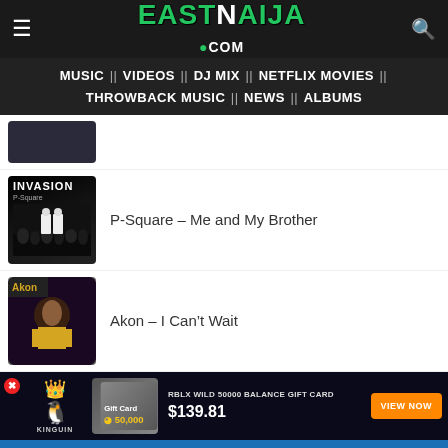[Figure (screenshot): EastNaija.com website header with hamburger menu, logo, and search icon on dark background]
MUSIC || VIDEOS || DJ MIX || NETFLIX MOVIES || THROWBACK MUSIC || NEWS || ALBUMS
[Figure (photo): Partial album art thumbnail at top]
[Figure (photo): P-Square Invasion album cover showing two figures in front of crowd]
P-Square – Me and My Brother
[Figure (photo): Akon album art thumbnail]
Akon – I Can't Wait
[Figure (screenshot): Kinguin advertisement banner: RBLX WILD 50000 BALANCE GIFT CARD $139.81 VIEW NOW button]